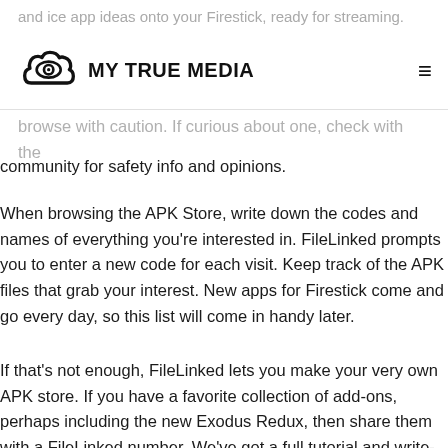MY TRUE MEDIA
community for safety info and opinions.
When browsing the APK Store, write down the codes and names of everything you're interested in. FileLinked prompts you to enter a new code for each visit. Keep track of the APK files that grab your interest. New apps for Firestick come and go every day, so this list will come in handy later.
If that's not enough, FileLinked lets you make your very own APK store. If you have a favorite collection of add-ons, perhaps including the new Exodus Redux, then share them with a FileLinked number. We've got a full tutorial and write-up on FileLinked coming very soon. We'll replace this paragraph once it's posted, so check back if that interests you.